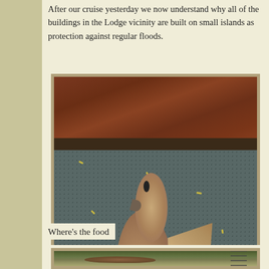After our cruise yesterday we now understand why all of the buildings in the Lodge vicinity are built on small islands as protection against regular floods.
[Figure (photo): Close-up photo of a small brown bird standing on a grey mesh/woven mat with yellow seeds scattered around it. There is a reddish-brown brick or wood surface visible in the upper portion.]
Where's the food
[Figure (photo): Photo of a small furry animal (appears to be a squirrel or rodent) on a grassy ground with leaves, with a fence or bars visible on the right side.]